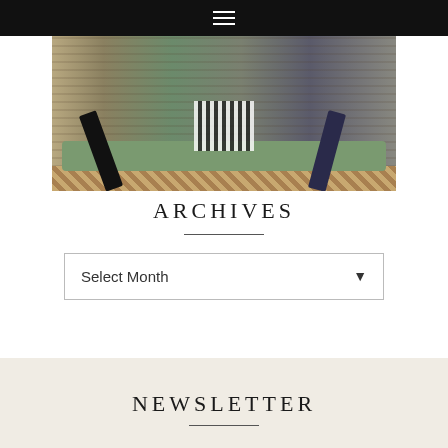Navigation menu (hamburger icon)
[Figure (photo): Two people sitting on a green bench/sofa with striped clothing, decorative wallpaper background and patterned rug on floor]
ARCHIVES
Select Month
NEWSLETTER